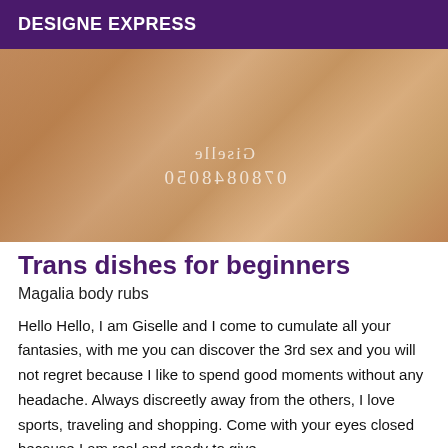DESIGNE EXPRESS
[Figure (photo): Close-up photo with watermark text mirrored: 'Giselle' and a phone number '0780848050']
Trans dishes for beginners
Magalia body rubs
Hello Hello, I am Giselle and I come to cumulate all your fantasies, with me you can discover the 3rd sex and you will not regret because I like to spend good moments without any headache. Always discreetly away from the others, I love sports, traveling and shopping. Come with your eyes closed because I am real and ready to give